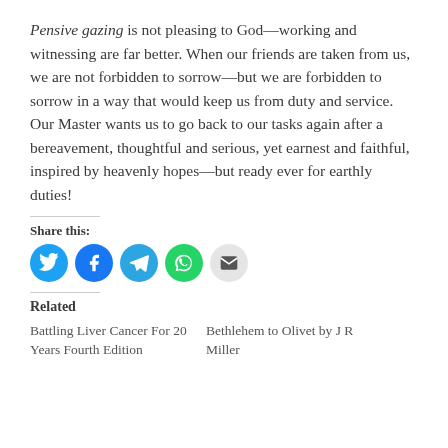Pensive gazing is not pleasing to God—working and witnessing are far better. When our friends are taken from us, we are not forbidden to sorrow—but we are forbidden to sorrow in a way that would keep us from duty and service. Our Master wants us to go back to our tasks again after a bereavement, thoughtful and serious, yet earnest and faithful, inspired by heavenly hopes—but ready ever for earthly duties!
Share this:
[Figure (infographic): Social sharing buttons: Twitter (blue), Facebook (blue), Telegram (blue), WhatsApp (green), Email (gray)]
Related
Battling Liver Cancer For 20 Years Fourth Edition
Bethlehem to Olivet by J R Miller